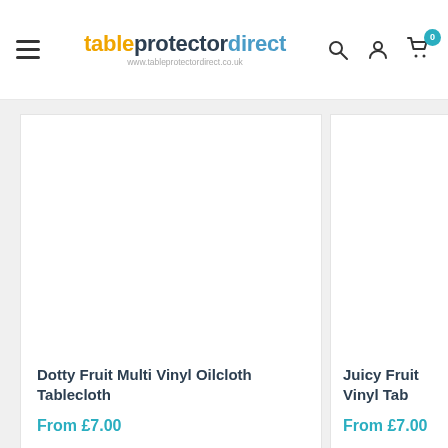tableprotectordirect — Navigation header with menu, logo, search, account, and cart icons
[Figure (photo): Product image area for Dotty Fruit Multi Vinyl Oilcloth Tablecloth (white/empty visible area)]
Dotty Fruit Multi Vinyl Oilcloth Tablecloth
From £7.00
[Figure (photo): Product image area for Juicy Fruit Vinyl Tablecloth (partially visible, right side)]
Juicy Fruit Vinyl Tab
From £7.00